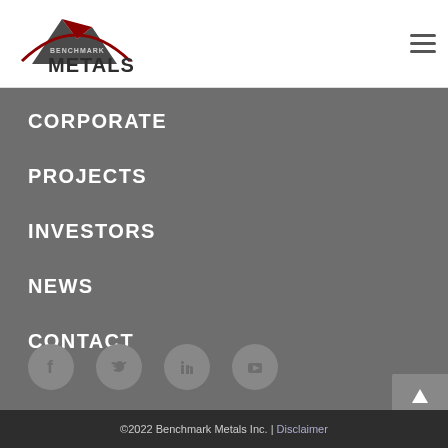Benchmark Metals logo and hamburger menu
CORPORATE
PROJECTS
INVESTORS
NEWS
CONTACT
[Figure (infographic): Social media icons: Facebook, Twitter, LinkedIn, YouTube]
©2022 Benchmark Metals Inc. | Disclaimer